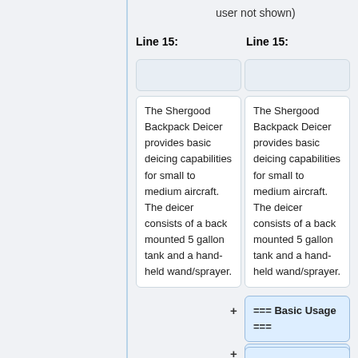user not shown)
Line 15:
Line 15:
The Shergood Backpack Deicer provides basic deicing capabilities for small to medium aircraft.  The deicer consists of a back mounted 5 gallon tank and a hand-held wand/sprayer.
The Shergood Backpack Deicer provides basic deicing capabilities for small to medium aircraft.  The deicer consists of a back mounted 5 gallon tank and a hand-held wand/sprayer.
=== Basic Usage ===